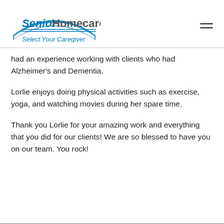Senior Homecare by Angels — Select Your Caregiver
had an experience working with clients who had Alzheimer's and Dementia.
Lorlie enjoys doing physical activities such as exercise, yoga, and watching movies during her spare time.
Thank you Lorlie for your amazing work and everything that you did for our clients! We are so blessed to have you on our team. You rock!